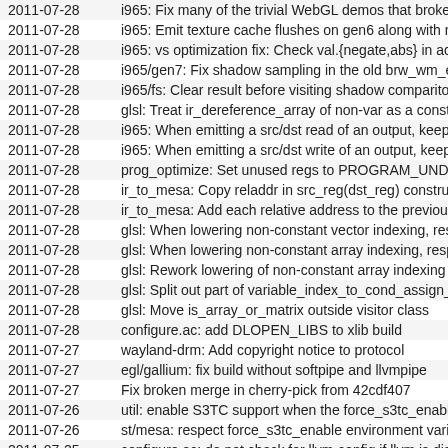2011-07-28	i965: Fix many of the trivial WebGL demos that broke o
2011-07-28	i965: Emit texture cache flushes on gen6 along with re
2011-07-28	i965: vs optimization fix: Check val.{negate,abs} in acc
2011-07-28	i965/gen7: Fix shadow sampling in the old brw_wm_er
2011-07-28	i965/fs: Clear result before visiting shadow comparitor
2011-07-28	glsl: Treat ir_dereference_array of non-var as a consta
2011-07-28	i965: When emitting a src/dst read of an output, keep t
2011-07-28	i965: When emitting a src/dst write of an output, keep t
2011-07-28	prog_optimize: Set unused regs to PROGRAM_UNDE
2011-07-28	ir_to_mesa: Copy reladdr in src_reg(dst_reg) construct
2011-07-28	ir_to_mesa: Add each relative address to the previous
2011-07-28	glsl: When lowering non-constant vector indexing, resp
2011-07-28	glsl: When lowering non-constant array indexing, respe
2011-07-28	glsl: Rework lowering of non-constant array indexing
2011-07-28	glsl: Split out part of variable_index_to_cond_assign_v
2011-07-28	glsl: Move is_array_or_matrix outside visitor class
2011-07-28	configure.ac: add DLOPEN_LIBS to xlib build
2011-07-27	wayland-drm: Add copyright notice to protocol
2011-07-27	egl/gallium: fix build without softpipe and llvmpipe
2011-07-27	Fix broken merge in cherry-pick from 42cdf407
2011-07-26	util: enable S3TC support when the force_s3tc_enable
2011-07-26	st/mesa: respect force_s3tc_enable environment varia
2011-07-25	configure.ac: do not check for llvm-config if llvm is disa
2011-07-25	configure: Move gbm before egl in SRC_DIRS
2011-07-23	configure.ac: check for libdrm_radeon only when buildi
2011-07-23	glsl: Reject shaders that contain static recursion